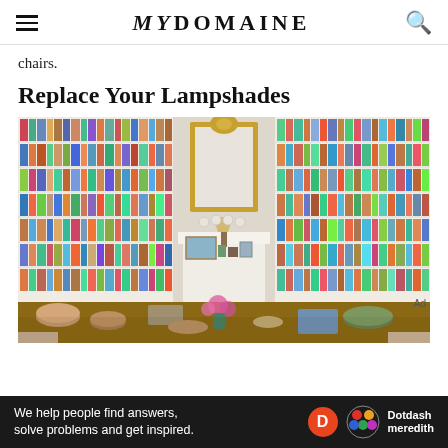MYDOMAINE
chairs.
Replace Your Lampshades
[Figure (photo): A library room with floor-to-ceiling white bookshelves filled with colorful books on both sides, a large ornate gold-framed mirror above a white fireplace mantel in the center, decorative plates on the wall, a lamp with a shade on the mantel, framed photos and objects on the mantel, pink flowers, and a wooden table in the foreground covered with books, dishes, and decorative objects. Upholstered chairs are partially visible.]